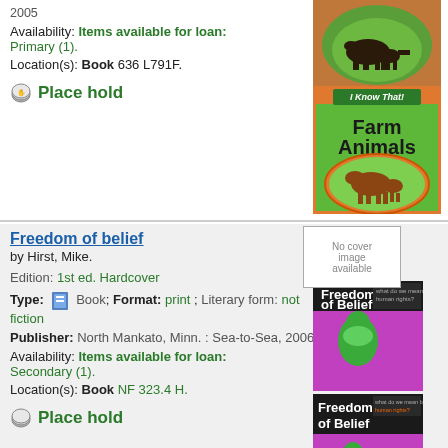2005
Availability: Items available for loan: Primary (1).
Location(s): Book 636 L791F.
Place hold
[Figure (photo): Book cover for Farm Animals (I Know That! series) showing a cow and calf on a green background, orange border]
Freedom of belief
by Hirst, Mike.
Edition: 1st ed. Hardcover
Type: Book; Format: print ; Literary form: not fiction
Publisher: North Mankato, Minn. : Sea-to-Sea, 2006
Availability: Items available for loan: Secondary (1).
Location(s): Book NF 323.4 H.
Place hold
[Figure (photo): Two book covers for Freedom of Belief by Mike Hirst, showing a person on green/purple background with text collage; also a 'No cover image available' placeholder box]